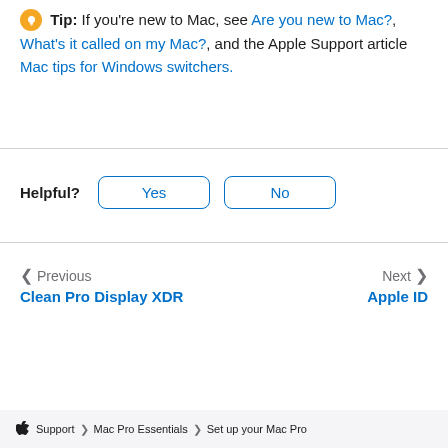Tip: If you're new to Mac, see Are you new to Mac?, What's it called on my Mac?, and the Apple Support article Mac tips for Windows switchers.
Helpful? Yes No
Previous Clean Pro Display XDR | Next Apple ID
Apple > Support > Mac Pro Essentials > Set up your Mac Pro